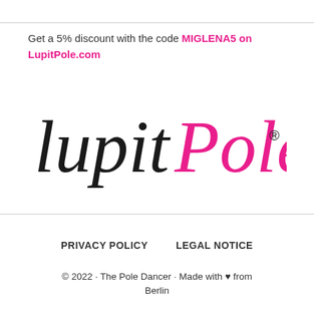Get a 5% discount with the code MIGLENA5 on LupitPole.com
[Figure (logo): LupitPole logo in black cursive handwriting for 'Lupit' and pink cursive for 'Pole' with a registered trademark symbol]
PRIVACY POLICY    LEGAL NOTICE
© 2022 · The Pole Dancer · Made with ♥ from Berlin